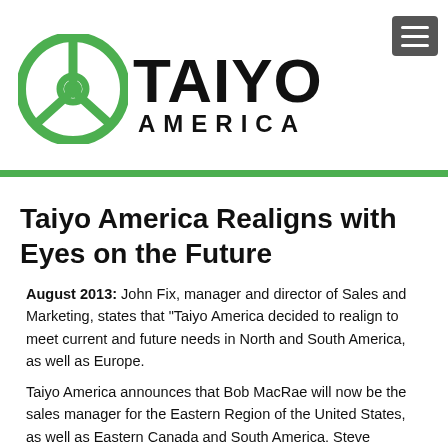[Figure (logo): Taiyo America logo: green circular steering wheel icon on the left and bold black text 'TAIYO AMERICA' on the right]
Taiyo America Realigns with Eyes on the Future
August 2013: John Fix, manager and director of Sales and Marketing, states that “Taiyo America decided to realign to meet current and future needs in North and South America, as well as Europe.
Taiyo America announces that Bob MacRae will now be the sales manager for the Eastern Region of the United States, as well as Eastern Canada and South America. Steve Campisi will also be supporting the same territories as technical service